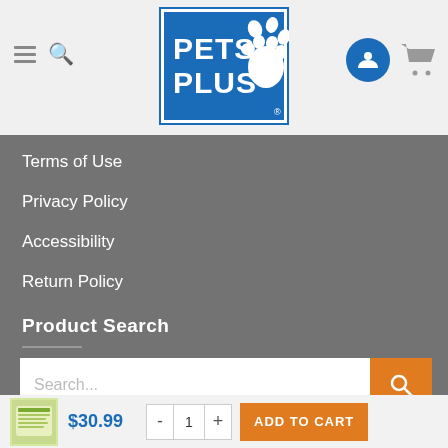[Figure (logo): Pets Plus logo with blue background, white text PETS PLUS, and a paw print graphic with registration mark]
Terms of Use
Privacy Policy
Accessibility
Return Policy
Product Search
[Figure (screenshot): Search bar with placeholder text 'Search...' and an orange search button with magnifying glass icon]
[Figure (infographic): Add to cart bar showing product image, price $30.99, quantity selector with - 1 + buttons, and orange ADD TO CART button]